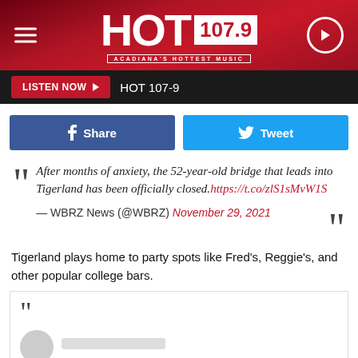HOT 107.9 — ACADIANA'S HOTTEST MUSIC
LISTEN NOW  HOT 107-9
Share  Tweet
After months of anxiety, the 52-year-old bridge that leads into Tigerland has been officially closed. https://t.co/zlS1sMvW1S
— WBRZ News (@WBRZ) November 29, 2021
Tigerland plays home to party spots like Fred's, Reggie's, and other popular college bars.